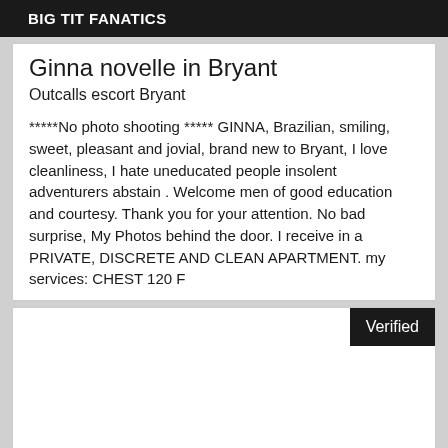BIG TIT FANATICS
Ginna novelle in Bryant
Outcalls escort Bryant
*****No photo shooting ***** GINNA, Brazilian, smiling, sweet, pleasant and jovial, brand new to Bryant, I love cleanliness, I hate uneducated people insolent adventurers abstain . Welcome men of good education and courtesy. Thank you for your attention. No bad surprise, My Photos behind the door. I receive in a PRIVATE, DISCRETE AND CLEAN APARTMENT. my services: CHEST 120 F
[Figure (other): Second card with a Verified badge in the top-right corner, mostly blank white space]